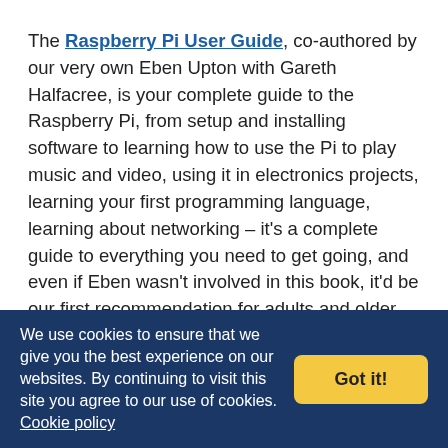The Raspberry Pi User Guide, co-authored by our very own Eben Upton with Gareth Halfacree, is your complete guide to the Raspberry Pi, from setup and installing software to learning how to use the Pi to play music and video, using it in electronics projects, learning your first programming language, learning about networking – it's a complete guide to everything you need to get going, and even if Eben wasn't involved in this book, it'd be our first recommendation for adults and older kids interested in getting started with the Raspberry Pi.
We use cookies to ensure that we give you the best experience on our websites. By continuing to visit this site you agree to our use of cookies. Cookie policy